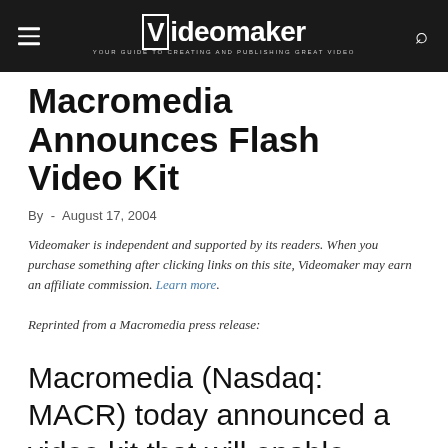Videomaker — YOUR GUIDE TO CREATING AND PUBLISHING GREAT VIDEO
Macromedia Announces Flash Video Kit
By  -  August 17, 2004
Videomaker is independent and supported by its readers. When you purchase something after clicking links on this site, Videomaker may earn an affiliate commission. Learn more.
Reprinted from a Macromedia press release:
Macromedia (Nasdaq: MACR) today announced a video kit that will enable